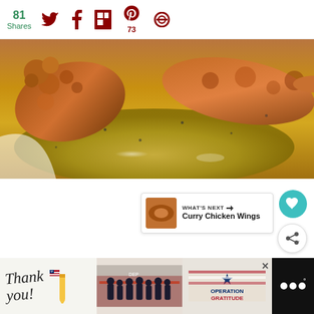[Figure (screenshot): Share bar showing 81 Shares count in green, Twitter, Facebook, Flipboard, Pinterest (73), and another social icon in dark red]
[Figure (photo): Close-up photo of fried chicken wings in a golden/yellow sauce on a white plate]
[Figure (screenshot): Content area with heart (favorite) and share floating action buttons. 'What's Next' card showing Curry Chicken Wings with thumbnail.]
[Figure (screenshot): Bottom advertisement bar with 'Thank you!' handwritten text, American flag pencil, image of firefighters, Operation Gratitude logo, and close button]